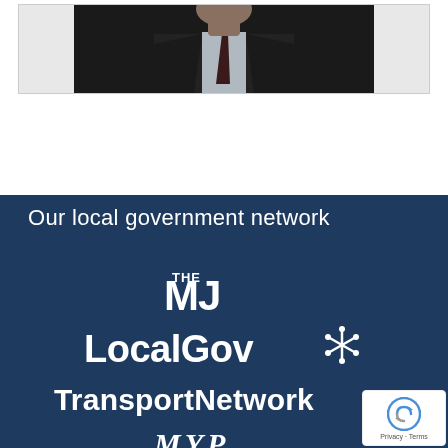[Figure (photo): Partial photo of a person in a dark suit with a dark tie, cropped showing torso/neck area, displayed in a light gray framed box]
Our local government network
[Figure (logo): THE MJ logo in white bold text on dark blue background]
[Figure (logo): LocalGov logo with star/asterisk icon in white on dark blue background]
[Figure (logo): TransportNetwork logo in white bold text on dark blue background]
[Figure (logo): MYP logo partially visible at bottom in white on dark blue background]